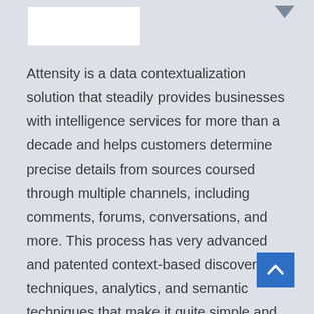[Figure (logo): White rectangular logo box in upper left area]
Attensity is a data contextualization solution that steadily provides businesses with intelligence services for more than a decade and helps customers determine precise details from sources coursed through multiple channels, including comments, forums, conversations, and more. This process has very advanced and patented context-based discovery techniques, analytics, and semantic techniques that make it quite simple and powerful.
This tool is specially designed to take their client to a whole new level of business intelligence (BI) and customer experience management. The most